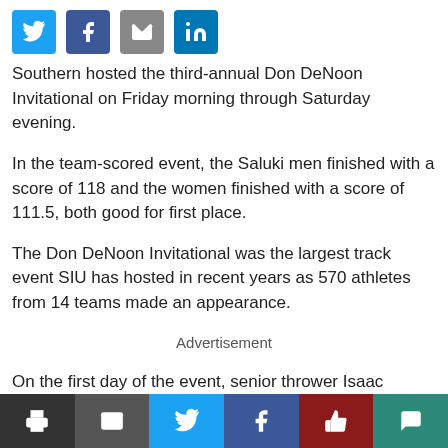[Figure (other): Social sharing icons: Twitter, Facebook, Email, LinkedIn]
Southern hosted the third-annual Don DeNoon Invitational on Friday morning through Saturday evening.
In the team-scored event, the Saluki men finished with a score of 118 and the women finished with a score of 111.5, both good for first place.
The Don DeNoon Invitational was the largest track event SIU has hosted in recent years as 570 athletes from 14 teams made an appearance.
Advertisement
On the first day of the event, senior thrower Isaac Ingram took first place in the weight throw for the fifth
[Figure (other): Bottom toolbar with icons: print, email, Twitter, Facebook, like/thumbs-up, comment]